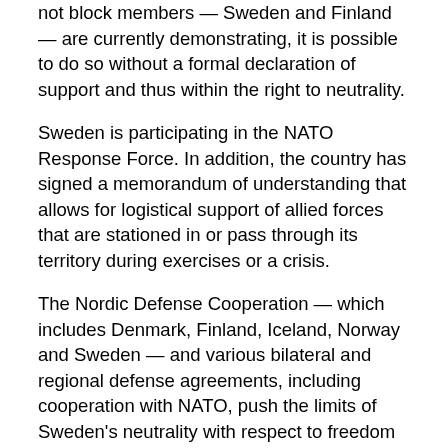not block members — Sweden and Finland — are currently demonstrating, it is possible to do so without a formal declaration of support and thus within the right to neutrality.
Sweden is participating in the NATO Response Force. In addition, the country has signed a memorandum of understanding that allows for logistical support of allied forces that are stationed in or pass through its territory during exercises or a crisis.
The Nordic Defense Cooperation — which includes Denmark, Finland, Iceland, Norway and Sweden — and various bilateral and regional defense agreements, including cooperation with NATO, push the limits of Sweden's neutrality with respect to freedom from alliance without a formal declaration of support. Its defensive strategy thus orients Sweden toward transnational cooperation. That is what the Swedish Defense Research Agency wrote in a study published before the war in Ukraine: that precisely in the new context of multipolarity, with asymmetrical threats and global terrorism, defense policies automatically assume an international dimension and require